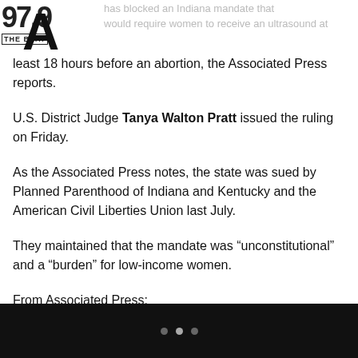97.9 The Beat
has blocked an Indiana mandate that would require women to receive an ultrasound at least 18 hours before an abortion, the Associated Press reports.
U.S. District Judge Tanya Walton Pratt issued the ruling on Friday.
As the Associated Press notes, the state was sued by Planned Parenthood of Indiana and Kentucky and the American Civil Liberties Union last July.
They maintained that the mandate was “unconstitutional” and a “burden” for low-income women.
From Associated Press: